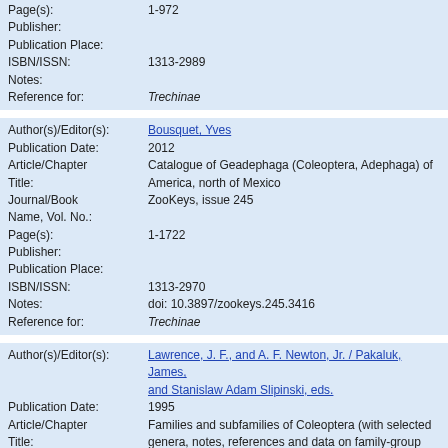| Page(s): | 1-972 |
| Publisher: |  |
| Publication Place: |  |
| ISBN/ISSN: | 1313-2989 |
| Notes: |  |
| Reference for: | Trechinae |
| Author(s)/Editor(s): | Bousquet, Yves |
| Publication Date: | 2012 |
| Article/Chapter Title: | Catalogue of Geadephaga (Coleoptera, Adephaga) of America, north of Mexico |
| Journal/Book Name, Vol. No.: | ZooKeys, issue 245 |
| Page(s): | 1-1722 |
| Publisher: |  |
| Publication Place: |  |
| ISBN/ISSN: | 1313-2970 |
| Notes: | doi: 10.3897/zookeys.245.3416 |
| Reference for: | Trechinae |
| Author(s)/Editor(s): | Lawrence, J. F., and A. F. Newton, Jr. / Pakaluk, James, and Stanislaw Adam Slipinski, eds. |
| Publication Date: | 1995 |
| Article/Chapter Title: | Families and subfamilies of Coleoptera (with selected genera, notes, references and data on family-group names) |
| Journal/Book Name, Vol. No.: | Biology, Phylogeny, and Classification of Coleoptera: Papers Celebrating the 80th Birthday of Roy A. Crowson, vol. 2 |
| Page(s): | 779-1006 |
| Publisher: | Muzeum i Instytut Zoologii PAN |
| Publication Place: | Warszawa, Poland |